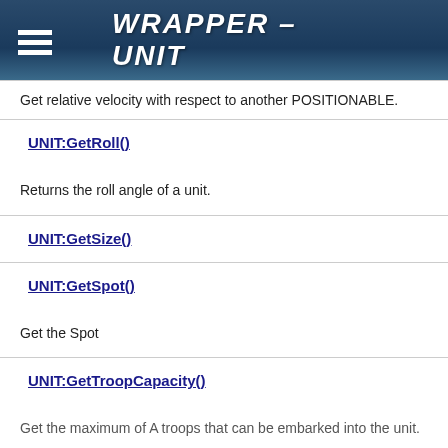WRAPPER - UNIT
Get relative velocity with respect to another POSITIONABLE.
UNIT:GetRoll()
Returns the roll angle of a unit.
UNIT:GetSize()
UNIT:GetSpot()
Get the Spot
UNIT:GetTroopCapacity()
Get the maximum of A troops that can be embarked into the unit.